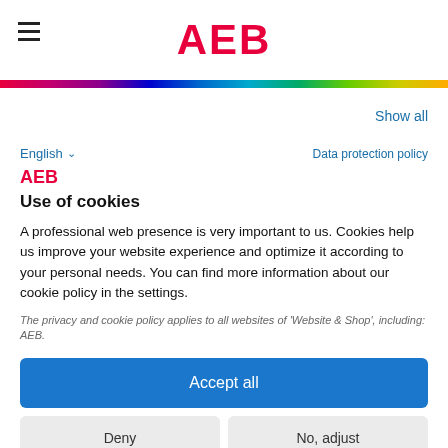AEB
Show all
English
Data protection policy
AEB
Use of cookies
A professional web presence is very important to us. Cookies help us improve your website experience and optimize it according to your personal needs. You can find more information about our cookie policy in the settings.
The privacy and cookie policy applies to all websites of 'Website & Shop', including: AEB.
Accept all
Deny
No, adjust